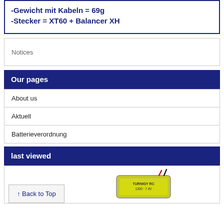-Gewicht mit Kabeln = 69g
-Stecker = XT60 + Balancer XH
Notices
Our pages
About us
Aktuell
Batterieverordnung
last viewed
↑ Back to Top
[Figure (photo): Battery pack photo - LiPo battery product image]